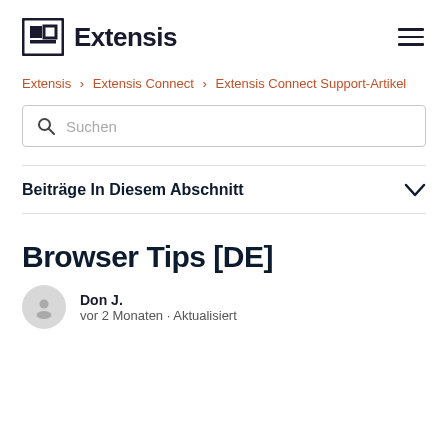Extensis
Extensis > Extensis Connect > Extensis Connect Support-Artikel
Suchen
Beiträge In Diesem Abschnitt
Browser Tips [DE]
Don J.
vor 2 Monaten · Aktualisiert